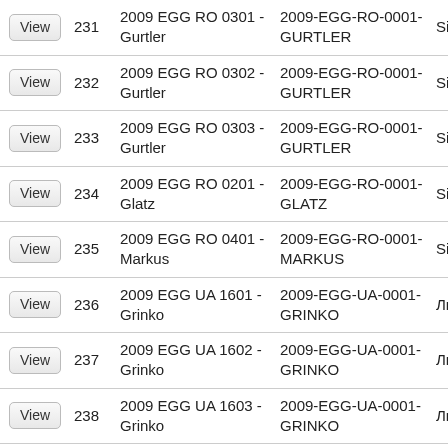|  |  | Name | Code | City |
| --- | --- | --- | --- | --- |
| View | 231 | 2009 EGG RO 0301 - Gurtler | 2009-EGG-RO-0001-GURTLER | Sibiu |
| View | 232 | 2009 EGG RO 0302 - Gurtler | 2009-EGG-RO-0001-GURTLER | Sibiu |
| View | 233 | 2009 EGG RO 0303 - Gurtler | 2009-EGG-RO-0001-GURTLER | Sibiu |
| View | 234 | 2009 EGG RO 0201 - Glatz | 2009-EGG-RO-0001-GLATZ | Sibiu |
| View | 235 | 2009 EGG RO 0401 - Markus | 2009-EGG-RO-0001-MARKUS | Sibiu |
| View | 236 | 2009 EGG UA 1601 - Grinko | 2009-EGG-UA-0001-GRINKO | Львів |
| View | 237 | 2009 EGG UA 1602 - Grinko | 2009-EGG-UA-0001-GRINKO | Львів |
| View | 238 | 2009 EGG UA 1603 - Grinko | 2009-EGG-UA-0001-GRINKO | Львів |